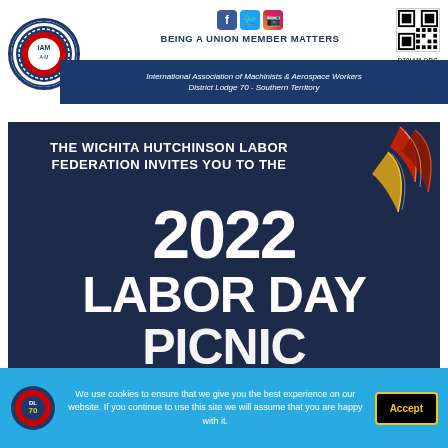[Figure (logo): International Association of Machinists and Aerospace Workers circular logo]
[Figure (logo): Social media icons: Facebook, Twitter, Instagram]
BEING A UNION MEMBER MATTERS
[Figure (other): QR code linking to D70IAM.ORG]
International Association of Machinists & Aerospace Workers District Lodge 70 - Southern Territory
[Figure (infographic): Dark navy event poster: THE WICHITA HUTCHINSON LABOR FEDERATION INVITES YOU TO THE 2022 LABOR DAY PICNIC with decorative feathers]
We use cookies to ensure that we give you the best experience on our website. If you continue to use this site we will assume that you are happy with it.